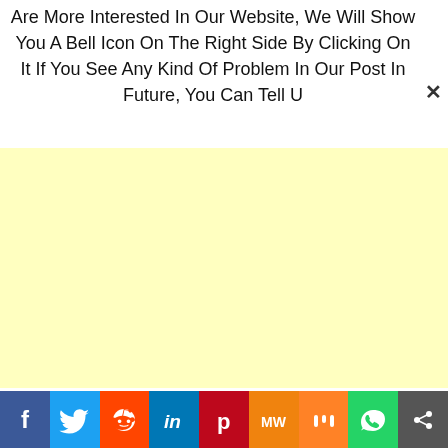Are More Interested In Our Website, We Will Show You A Bell Icon On The Right Side By Clicking On It If You See Any Kind Of Problem In Our Post In Future, You Can Tell U
[Figure (other): Yellow advertisement placeholder box]
[Figure (other): Social media sharing bar with icons: Facebook, Twitter, Reddit, LinkedIn, Pinterest, MeWe, Mix, WhatsApp, Share]